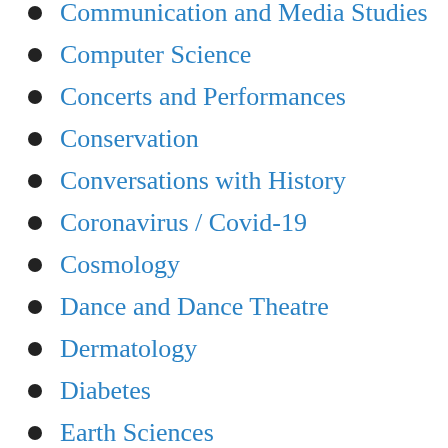Communication and Media Studies
Computer Science
Concerts and Performances
Conservation
Conversations with History
Coronavirus / Covid-19
Cosmology
Dance and Dance Theatre
Dermatology
Diabetes
Earth Sciences
Earthquake and Seismology
Ecology
Economics
Economy/Labor Issues
Education and Society
Education I…